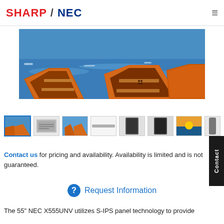SHARP / NEC
[Figure (photo): Photograph of red and orange wooden rowboats on blue water, shown on a large display monitor.]
[Figure (screenshot): Row of product image thumbnails for the NEC X555UNV display monitor including front, side, and detail views.]
Contact us for pricing and availability. Availability is limited and is not guaranteed.
Request Information
The 55" NEC X555UNV utilizes S-IPS panel technology to provide